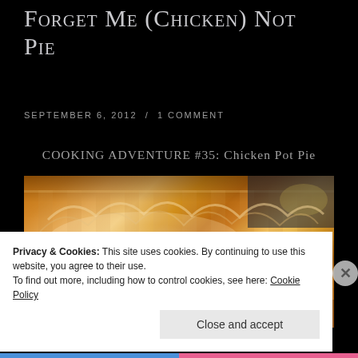Forget Me (Chicken) Not Pie
SEPTEMBER 6, 2012 / 1 COMMENT
COOKING ADVENTURE #35: Chicken Pot Pie
[Figure (photo): Close-up photo of a golden-brown baked chicken pot pie with crimped pastry crust on top]
Privacy & Cookies: This site uses cookies. By continuing to use this website, you agree to their use.
To find out more, including how to control cookies, see here: Cookie Policy
Close and accept